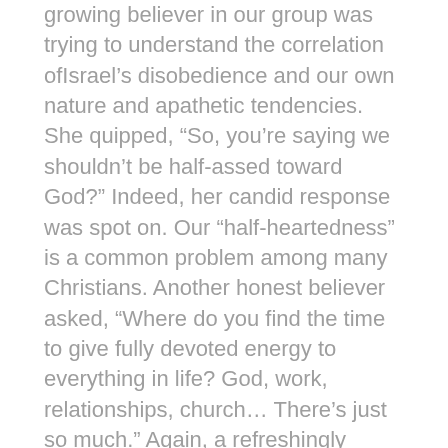growing believer in our group was trying to understand the correlation ofIsrael's disobedience and our own nature and apathetic tendencies. She quipped, “So, you’re saying we shouldn’t be half-assed toward God?” Indeed, her candid response was spot on. Our “half-heartedness” is a common problem among many Christians. Another honest believer asked, “Where do you find the time to give fully devoted energy to everything in life? God, work, relationships, church… There’s just so much.” Again, a refreshingly honest moment for our discussion to realize that we must also prioritize our lives in such a way that we limit the focus of our time so we can do a few things with God-